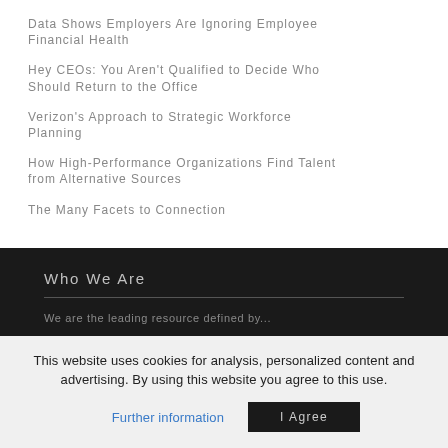Data Shows Employers Are Ignoring Employee Financial Health
Hey CEOs: You Aren't Qualified to Decide Who Should Return to the Office
Verizon's Approach to Strategic Workforce Planning
How High-Performance Organizations Find Talent from Alternative Sources
The Many Facets to Connection
Who We Are
We are the leading...
This website uses cookies for analysis, personalized content and advertising. By using this website you agree to this use.
Further information
I Agree